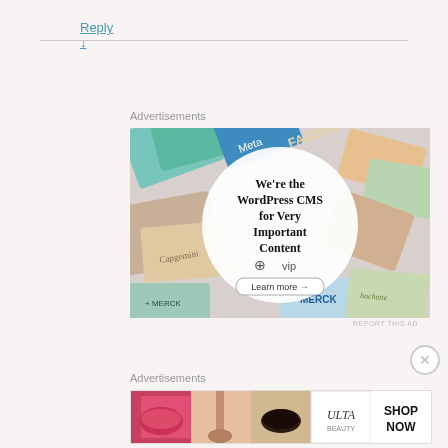Reply ↓
[Figure (screenshot): WordPress VIP advertisement banner showing 'We're the WordPress CMS for Very Important Content' with WP VIP logo and Learn more button, surrounded by brand logo cards (Meta, Facebook, Merck, Hachette, etc.)]
REPORT THIS AD
[Figure (screenshot): Ulta Beauty horizontal advertisement banner showing makeup product photos and SHOP NOW button]
REPORT THIS AD